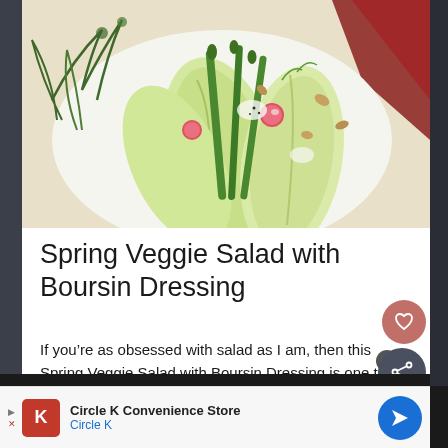[Figure (photo): Overhead photo of a Spring Veggie Salad with Belgian endive leaves, green asparagus, radishes, nuts, and fresh dill on a white plate with red napkin background]
Spring Veggie Salad with Boursin Dressing
If you’re as obsessed with salad as I am, then this Spring Veggie Salad with Boursin Dressing is one to add to your rotation for lunch and entertaining! If you’re anything like me, you’re always looking for
[Figure (infographic): WHAT'S NEXT arrow panel showing Blackberries and Thyme... with thumbnail]
Circle K Convenience Store
Circle K
[Figure (logo): Circle K logo red square with K letter]